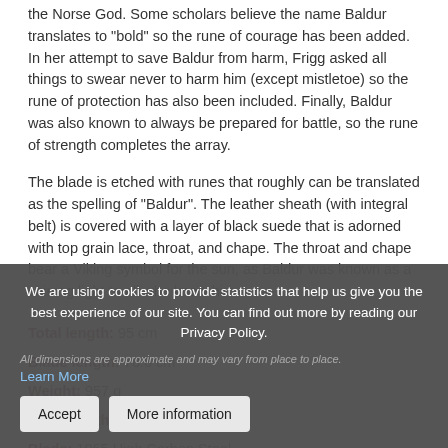the Norse God. Some scholars believe the name Baldur translates to "bold" so the rune of courage has been added. In her attempt to save Baldur from harm, Frigg asked all things to swear never to harm him (except mistletoe) so the rune of protection has also been included. Finally, Baldur was also known to always be prepared for battle, so the rune of strength completes the array.
The blade is etched with runes that roughly can be translated as the spelling of "Baldur". The leather sheath (with integral belt) is covered with a layer of black suede that is adorned with top grain lace, throat, and chape. The throat and chape bear a Viking symbol for the sun, as Baldur was known as a shining light to all who knew him.
Total length: 95 cm
Blade length: 78.8 cm
Weight: 957 g
Blade width (base): 7 cm
Blade: 1065 High Carbon Steel
Edge: Unsharpened
Scabbard: Leather, Wood, Brass
All dimensions are approximate and may vary from place to place.
We are using cookies to provide statistics that help us give you the best experience of our site. You can find out more by reading our Privacy Policy.